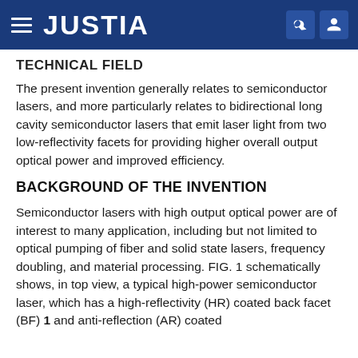JUSTIA
TECHNICAL FIELD
The present invention generally relates to semiconductor lasers, and more particularly relates to bidirectional long cavity semiconductor lasers that emit laser light from two low-reflectivity facets for providing higher overall output optical power and improved efficiency.
BACKGROUND OF THE INVENTION
Semiconductor lasers with high output optical power are of interest to many application, including but not limited to optical pumping of fiber and solid state lasers, frequency doubling, and material processing. FIG. 1 schematically shows, in top view, a typical high-power semiconductor laser, which has a high-reflectivity (HR) coated back facet (BF) 1 and anti-reflection (AR) coated